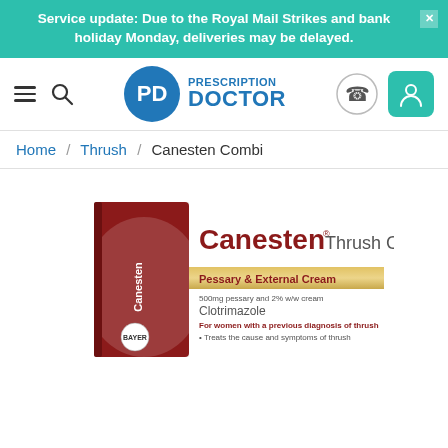Service update: Due to the Royal Mail Strikes and bank holiday Monday, deliveries may be delayed.
[Figure (logo): Prescription Doctor logo with circular PD icon and blue text reading PRESCRIPTION DOCTOR]
Home / Thrush / Canesten Combi
[Figure (photo): Canesten Thrush Combi product box - Pessary & External Cream, 500mg pessary and 2% w/w cream, Clotrimazole, For women with a previous diagnosis of thrush, Treats the cause and symptoms of thrush]